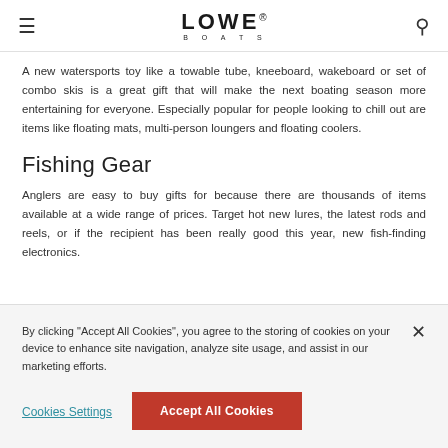LOWE BOATS
A new watersports toy like a towable tube, kneeboard, wakeboard or set of combo skis is a great gift that will make the next boating season more entertaining for everyone. Especially popular for people looking to chill out are items like floating mats, multi-person loungers and floating coolers.
Fishing Gear
Anglers are easy to buy gifts for because there are thousands of items available at a wide range of prices. Target hot new lures, the latest rods and reels, or if the recipient has been really good this year, new fish-finding electronics.
By clicking "Accept All Cookies", you agree to the storing of cookies on your device to enhance site navigation, analyze site usage, and assist in our marketing efforts.
Cookies Settings
Accept All Cookies